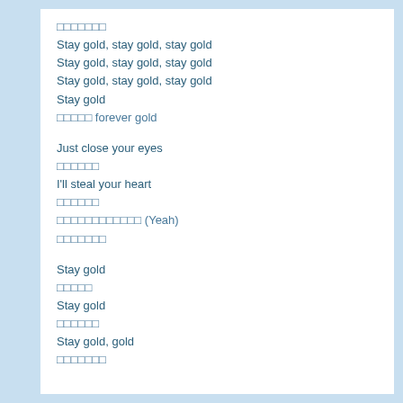ааааааа
Stay gold, stay gold, stay gold
Stay gold, stay gold, stay gold
Stay gold, stay gold, stay gold
Stay gold
ааааа forever gold
Just close your eyes
аааааа
I'll steal your heart
аааааа
аааааааааааа (Yeah)
ааааааа
Stay gold
ааааа
Stay gold
аааааа
Stay gold, gold
ааааааа